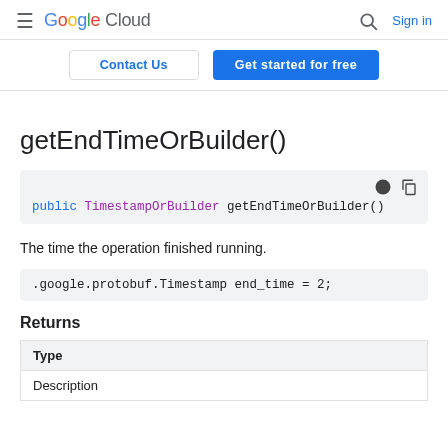Google Cloud  Sign in
Contact Us   Get started for free
getEndTimeOrBuilder()
public TimestampOrBuilder getEndTimeOrBuilder()
The time the operation finished running.
.google.protobuf.Timestamp end_time = 2;
Returns
| Type |
| --- |
| Description |